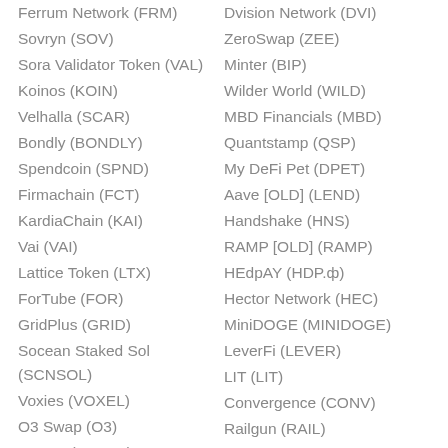Ferrum Network (FRM)
Dvision Network (DVI)
Sovryn (SOV)
ZeroSwap (ZEE)
Sora Validator Token (VAL)
Minter (BIP)
Koinos (KOIN)
Wilder World (WILD)
Velhalla (SCAR)
MBD Financials (MBD)
Bondly (BONDLY)
Quantstamp (QSP)
Spendcoin (SPND)
My DeFi Pet (DPET)
Firmachain (FCT)
Aave [OLD] (LEND)
KardiaChain (KAI)
Handshake (HNS)
Vai (VAI)
RAMP [OLD] (RAMP)
Lattice Token (LTX)
HEdpAY (HDP.ф)
ForTube (FOR)
Hector Network (HEC)
GridPlus (GRID)
MiniDOGE (MINIDOGE)
Socean Staked Sol (SCNSOL)
LeverFi (LEVER)
LIT (LIT)
Voxies (VOXEL)
Convergence (CONV)
O3 Swap (O3)
Railgun (RAIL)
RIZON (ATOLO)
c0x (CZRX)
Index Cooperative (INDEX)
Shyft Network (SHFT)